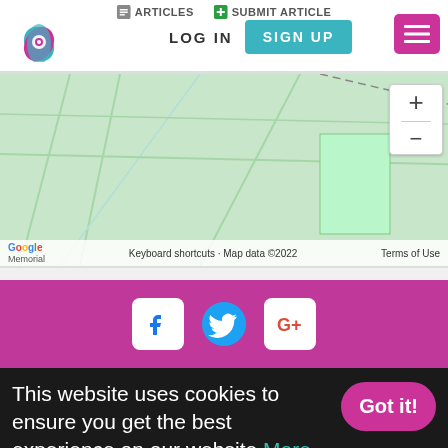ARTICLES  SUBMIT ARTICLE  LOG IN  SIGN UP
[Figure (map): Google Maps partial view showing street map with green background, zoom controls (+/-), and footer text: Keyboard shortcuts · Map data ©2022 · Terms of Use. Map label: Giana Memorial]
[Figure (infographic): Magenta/pink footer bar with Facebook, Twitter, and Google+ social media icons]
This website uses cookies to ensure you get the best experience on our website More info Got it!